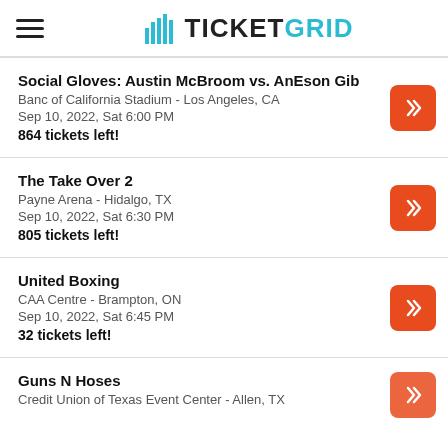TICKETGRID
Social Gloves: Austin McBroom vs. AnEson Gib
Banc of California Stadium - Los Angeles, CA
Sep 10, 2022, Sat 6:00 PM
864 tickets left!
The Take Over 2
Payne Arena - Hidalgo, TX
Sep 10, 2022, Sat 6:30 PM
805 tickets left!
United Boxing
CAA Centre - Brampton, ON
Sep 10, 2022, Sat 6:45 PM
32 tickets left!
Guns N Hoses
Credit Union of Texas Event Center - Allen, TX